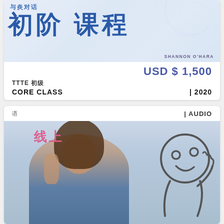与炎对话 初阶课程
SHANNON O'HARA
USD $ 1,500
TTTE 初级
CORE CLASS | 2020
语 | AUDIO
线上
[Figure (photo): Woman with long dark hair smiling and making a peace sign, with an illustrated cartoon character (simple round face with circle eyes and waving hand) overlaid on the right side]